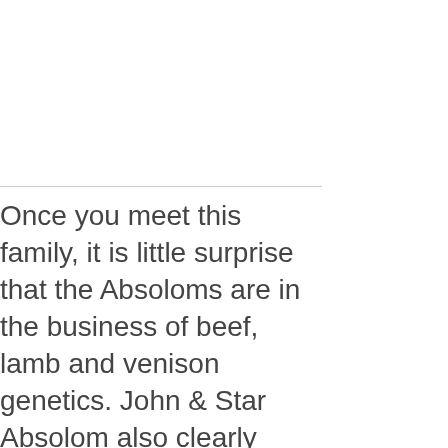Once you meet this family, it is little surprise that the Absoloms are in the business of beef, lamb and venison genetics. John & Star Absolom also clearly have a premium breeding program as well for the humans